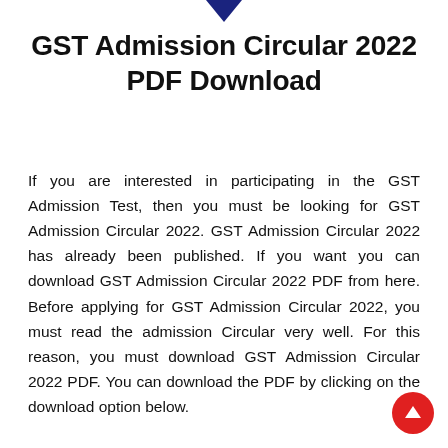[Figure (other): Dark blue downward-pointing arrow icon at the top center of the page]
GST Admission Circular 2022 PDF Download
If you are interested in participating in the GST Admission Test, then you must be looking for GST Admission Circular 2022. GST Admission Circular 2022 has already been published. If you want you can download GST Admission Circular 2022 PDF from here. Before applying for GST Admission Circular 2022, you must read the admission Circular very well. For this reason, you must download GST Admission Circular 2022 PDF. You can download the PDF by clicking on the download option below.